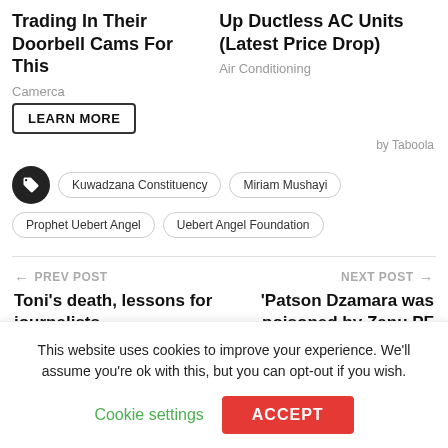Trading In Their Doorbell Cams For This
Camerca
LEARN MORE
Up Ductless AC Units (Latest Price Drop)
Air Conditioning
by Taboola
Kuwadzana Constituency  Miriam Mushayi  Prophet Uebert Angel  Uebert Angel Foundation
← PREV POST
Toni's death, lessons for journalists
NEXT POST →
'Patson Dzamara was poisoned by Zanu PF just
This website uses cookies to improve your experience. We'll assume you're ok with this, but you can opt-out if you wish.
Cookie settings
ACCEPT